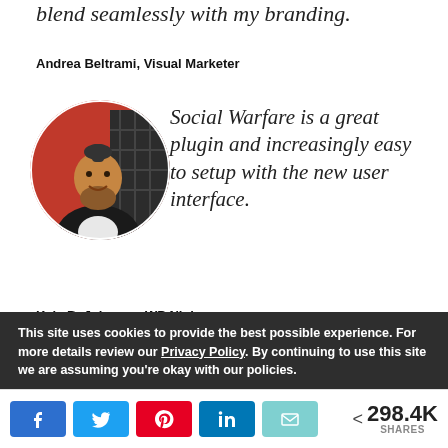blend seamlessly with my branding.
Andrea Beltrami, Visual Marketer
[Figure (photo): Circular headshot of Kyle B. Johnson, a bearded man in a dark jacket with a mohawk hairstyle, standing in front of a red building with dark lattice structures.]
Social Warfare is a great plugin and increasingly easy to setup with the new user interface.
Kyle B. Johnson, WP Ninjas
This site uses cookies to provide the best possible experience. For more details review our Privacy Policy. By continuing to use this site we are assuming you're okay with our policies.
< 298.4K SHARES